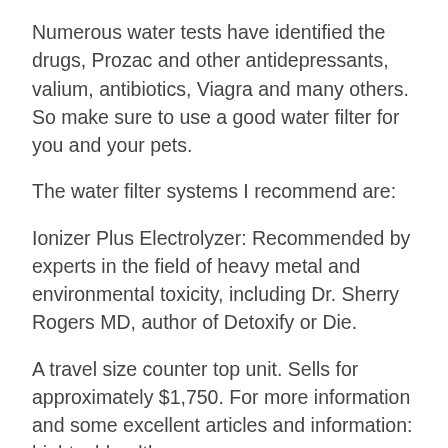Numerous water tests have identified the drugs, Prozac and other antidepressants, valium, antibiotics, Viagra and many others. So make sure to use a good water filter for you and your pets.
The water filter systems I recommend are:
Ionizer Plus Electrolyzer: Recommended by experts in the field of heavy metal and environmental toxicity, including Dr. Sherry Rogers MD, author of Detoxify or Die.
A travel size counter top unit. Sells for approximately $1,750. For more information and some excellent articles and information: hightechhealth.com.
Aqua Tru Water filter system: An excellent travel size counter top reverse osmosis water filter system for about